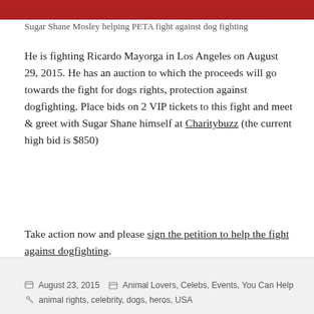[Figure (photo): Top strip of a photo showing Sugar Shane Mosley for PETA anti-dog fighting campaign, partial red background visible]
Sugar Shane Mosley helping PETA fight against dog fighting
He is fighting Ricardo Mayorga in Los Angeles on August 29, 2015. He has an auction to which the proceeds will go towards the fight for dogs rights, protection against dogfighting. Place bids on 2 VIP tickets to this fight and meet & greet with Sugar Shane himself at Charitybuzz (the current high bid is $850)
Take action now and please sign the petition to help the fight against dogfighting.
August 23, 2015  Animal Lovers, Celebs, Events, You Can Help  animal rights, celebrity, dogs, heros, USA